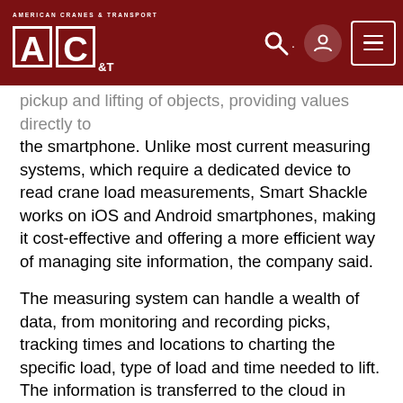American Cranes & Transport — ACT logo with search, account, and menu icons
pickup and lifting of objects, providing values directly to the smartphone. Unlike most current measuring systems, which require a dedicated device to read crane load measurements, Smart Shackle works on iOS and Android smartphones, making it cost-effective and offering a more efficient way of managing site information, the company said.
The measuring system can handle a wealth of data, from monitoring and recording picks, tracking times and locations to charting the specific load, type of load and time needed to lift. The information is transferred to the cloud in real-time and can be securely accessed on demand from any device, making it an asset for supervisors and site managers who need to remotely monitor or report activities on their jobsites. Multiple shackles can be displayed on one or more